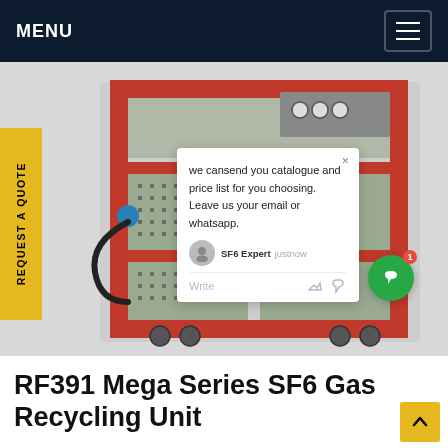MENU
[Figure (photo): RF391 Mega Series SF6 Gas Recycling Unit — a large industrial red and grey metal cabinet on casters with ventilation panels and gauges on top]
REQUEST A QUOTE
we cansend you catalogue and price list for you choosing. Leave us your email or whatsapp.
SF6 Expert   justnow
Write
RF391 Mega Series SF6 Gas Recycling Unit